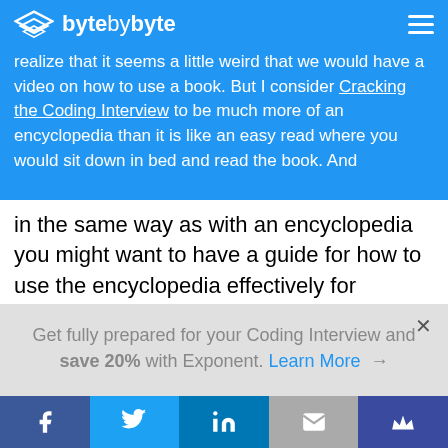byte by byte — navigation bar with logo and hamburger menu
realize that it seems a little weird that we would have a video on how to use a book. But I consider Cracking the Coding Interview to be much more of an encyclopedia than it is like an easy read where you would sit down in bed and read the book. And in the same way as with an encyclopedia you might want to have a guide for how to use the encyclopedia effectively for research. I think that it's really important that we understand how to use Cracking the Coding Interview properly for
Get fully prepared for your Coding Interview and save 20% with Exponent. Learn More →
Social share bar: Facebook, Twitter, LinkedIn, Email, Crown